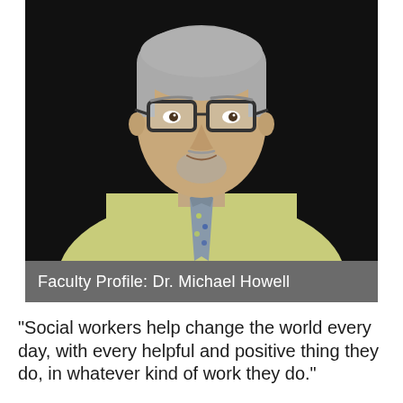[Figure (photo): Professional headshot of Dr. Michael Howell, a middle-aged man with short gray hair, rectangular dark-framed glasses, goatee, wearing a light yellow-green dress shirt and a patterned tie, photographed against a dark background.]
Faculty Profile: Dr. Michael Howell
“Social workers help change the world every day, with every helpful and positive thing they do, in whatever kind of work they do.”